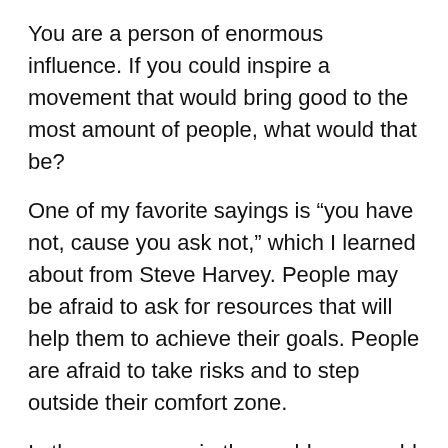You are a person of enormous influence. If you could inspire a movement that would bring good to the most amount of people, what would that be?
One of my favorite sayings is “you have not, cause you ask not,” which I learned about from Steve Harvey. People may be afraid to ask for resources that will help them to achieve their goals. People are afraid to take risks and to step outside their comfort zone.
Is there a person in the world you would love to have a private lunch with, and why?
I would like to have lunch with President Barack Obama after a pickup game of basketball. Aside from the obvious accomplishments as our nation’s first African-American President, I’m inspired by his